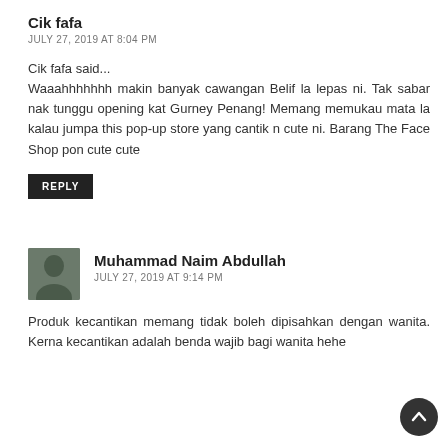Cik fafa
JULY 27, 2019 AT 8:04 PM
Cik fafa said...
Waaahhhhhhh makin banyak cawangan Belif la lepas ni. Tak sabar nak tunggu opening kat Gurney Penang! Memang memukau mata la kalau jumpa this pop-up store yang cantik n cute ni. Barang The Face Shop pon cute cute
REPLY
[Figure (photo): Avatar photo of Muhammad Naim Abdullah]
Muhammad Naim Abdullah
JULY 27, 2019 AT 9:14 PM
Produk kecantikan memang tidak boleh dipisahkan dengan wanita. Kerna kecantikan adalah benda wajib bagi wanita hehe